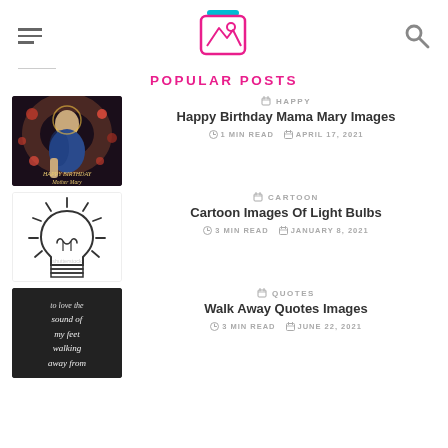Navigation header with hamburger menu, logo image icon, and search icon
POPULAR POSTS
[Figure (photo): Happy Birthday Mother Mary religious painting thumbnail]
HAPPY
Happy Birthday Mama Mary Images
1 MIN READ  APRIL 17, 2021
[Figure (illustration): Cartoon light bulb illustration with rays, shutterstock watermark]
CARTOON
Cartoon Images Of Light Bulbs
3 MIN READ  JANUARY 8, 2021
[Figure (photo): Dark background with white italic text about walking away]
QUOTES
Walk Away Quotes Images
3 MIN READ  JUNE 22, 2021